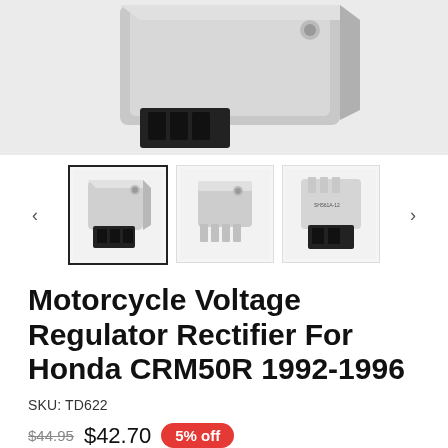[Figure (photo): Close-up top view of a motorcycle voltage regulator rectifier component, silver metal body with black connector, against light gray background]
[Figure (photo): Three thumbnail images of motorcycle voltage regulator rectifier: front-left view with selected border, bottom fins view, and back/connector view]
Motorcycle Voltage Regulator Rectifier For Honda CRM50R 1992-1996
SKU: TD622
$44.95  $42.70  5% off
Tax included. Free shipping.